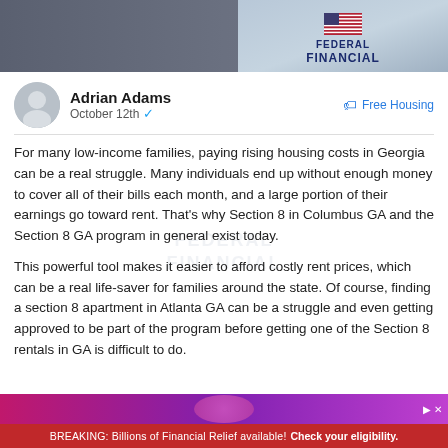[Figure (photo): Header banner with federal financial branding, American flag, and background photo of people]
Adrian Adams
October 12th ✓
Free Housing
For many low-income families, paying rising housing costs in Georgia can be a real struggle. Many individuals end up without enough money to cover all of their bills each month, and a large portion of their earnings go toward rent. That's why Section 8 in Columbus GA and the Section 8 GA program in general exist today.
This powerful tool makes it easier to afford costly rent prices, which can be a real life-saver for families around the state. Of course, finding a section 8 apartment in Atlanta GA can be a struggle and even getting approved to be part of the program before getting one of the Section 8 rentals in GA is difficult to do.
[Figure (photo): Advertisement strip with purple/pink gradient]
BREAKING: Billions of Financial Relief available! Check your eligibility.